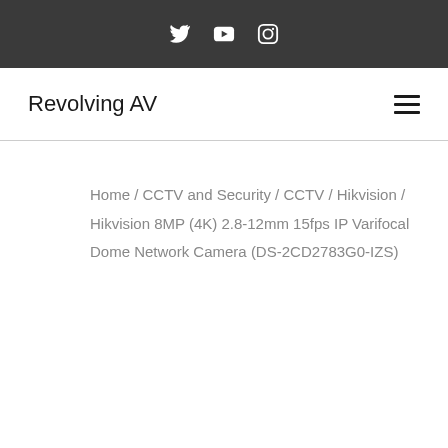Social icons: Twitter, YouTube, Instagram
Revolving AV
Home / CCTV and Security / CCTV / Hikvision / Hikvision 8MP (4K) 2.8-12mm 15fps IP Varifocal Dome Network Camera (DS-2CD2783G0-IZS)